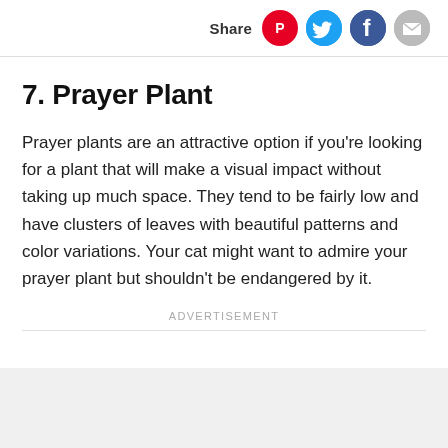Share
7. Prayer Plant
Prayer plants are an attractive option if you're looking for a plant that will make a visual impact without taking up much space. They tend to be fairly low and have clusters of leaves with beautiful patterns and color variations. Your cat might want to admire your prayer plant but shouldn't be endangered by it.
Advertisement